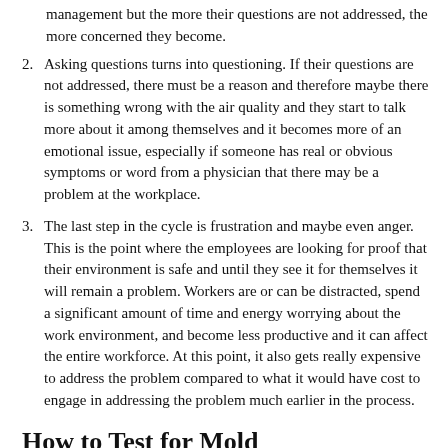management but the more their questions are not addressed, the more concerned they become.
2. Asking questions turns into questioning. If their questions are not addressed, there must be a reason and therefore maybe there is something wrong with the air quality and they start to talk more about it among themselves and it becomes more of an emotional issue, especially if someone has real or obvious symptoms or word from a physician that there may be a problem at the workplace.
3. The last step in the cycle is frustration and maybe even anger. This is the point where the employees are looking for proof that their environment is safe and until they see it for themselves it will remain a problem. Workers are or can be distracted, spend a significant amount of time and energy worrying about the work environment, and become less productive and it can affect the entire workforce. At this point, it also gets really expensive to address the problem compared to what it would have cost to engage in addressing the problem much earlier in the process.
How to Test for Mold